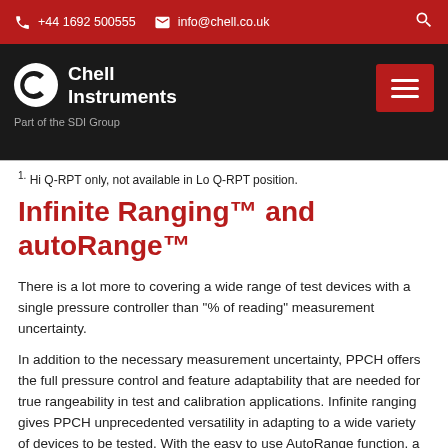+44 1692 500555  info@chell.co.uk
[Figure (logo): Chell Instruments logo - Part of the SDI Group, with hamburger menu button]
1. Hi Q-RPT only, not available in Lo Q-RPT position.
Infinite Ranging™ and autoRange™
There is a lot more to covering a wide range of test devices with a single pressure controller than "% of reading" measurement uncertainty.
In addition to the necessary measurement uncertainty, PPCH offers the full pressure control and feature adaptability that are needed for true rangeability in test and calibration applications. Infinite ranging gives PPCH unprecedented versatility in adapting to a wide variety of devices to be tested. With the easy to use AutoRange function, a few simple key strokes or a single remote command string at the start of a test adapts some features of the controller to optimize it for measurement.